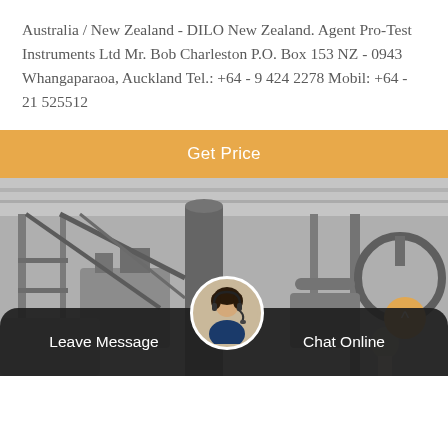Australia / New Zealand - DILO New Zealand. Agent Pro-Test Instruments Ltd Mr. Bob Charleston P.O. Box 153 NZ - 0943 Whangaparaoa, Auckland Tel.: +64 - 9 424 2278 Mobil: +64 - 21 525512
Get Price
[Figure (photo): Black and white photo of an industrial electrical substation with large equipment, scaffolding, pipes, and workers in the background.]
Leave Message
Chat Online